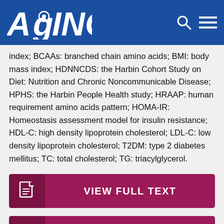AGING
index; BCAAs: branched chain amino acids; BMI: body mass index; HDNNCDS: the Harbin Cohort Study on Diet: Nutrition and Chronic Noncommunicable Disease; HPHS: the Harbin People Health study; HRAAP: human requirement amino acids pattern; HOMA-IR: Homeostasis assessment model for insulin resistance; HDL-C: high density lipoprotein cholesterol; LDL-C: low density lipoprotein cholesterol; T2DM: type 2 diabetes mellitus; TC: total cholesterol; TG: triacylglycerol.
VIEW FULL TEXT
DOWNLOAD PDF